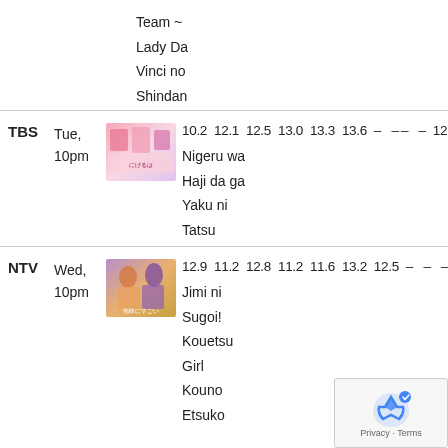Team ~
Lady Da
Vinci no
Shindan
| Network | Day | Show | Ep1 | Ep2 | Ep3 | Ep4 | Ep5 | Ep6 | Ep7 | Ep8 | Ep9 | Ep10 | Avg |
| --- | --- | --- | --- | --- | --- | --- | --- | --- | --- | --- | --- | --- | --- |
| TBS | Tue, 10pm | Nigeru wa Haji da ga Yaku ni Tatsu | 10.2 | 12.1 | 12.5 | 13.0 | 13.3 | 13.6 | – | – | – | – | 12.35 |
| NTV | Wed, 10pm | Jimi ni Sugoi! Kouetsu Girl Kouno Etsuko | 12.9 | 11.2 | 12.8 | 11.2 | 11.6 | 13.2 | 12.5 | – | – | – | 12.22 |